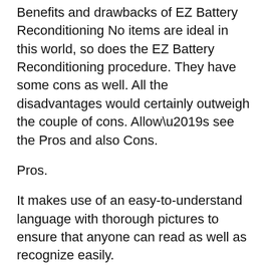Benefits and drawbacks of EZ Battery Reconditioning No items are ideal in this world, so does the EZ Battery Reconditioning procedure. They have some cons as well. All the disadvantages would certainly outweigh the couple of cons. Allow’s see the Pros and also Cons.
Pros.
It makes use of an easy-to-understand language with thorough pictures to ensure that anyone can read as well as recognize easily.
EZ Battery Reconditioning step by step guides are very easy to adhere to.